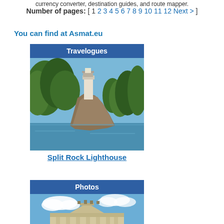currency converter, destination guides, and route mapper.
Number of pages: [ 1 2 3 4 5 6 7 8 9 10 11 12 Next > ]
You can find at Asmat.eu
Travelogues
[Figure (photo): Split Rock Lighthouse on a rocky cliff surrounded by trees and water]
Split Rock Lighthouse
Photos
[Figure (photo): Ornate building or monument with columns against a blue sky with clouds]